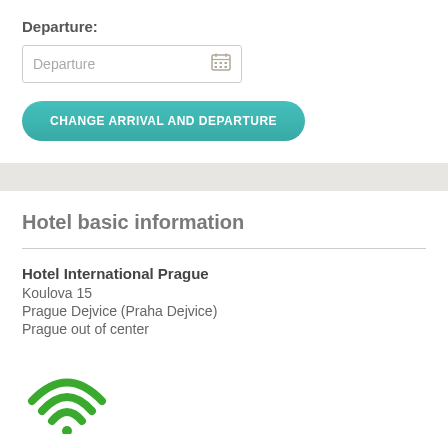Departure:
[Figure (screenshot): Departure date input field with calendar icon]
CHANGE ARRIVAL AND DEPARTURE
Hotel basic information
Hotel International Prague
Koulova 15
Prague Dejvice (Praha Dejvice)
Prague out of center
[Figure (illustration): Green WiFi icon]
Check-in: 03:00 pm